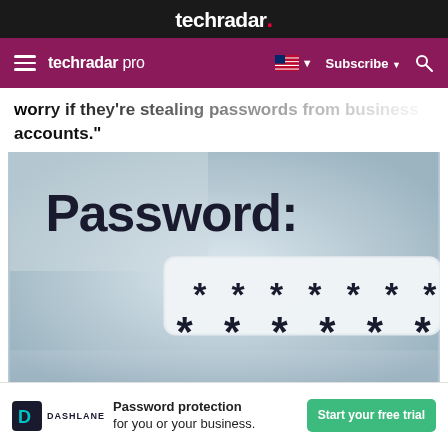techradar.
techradar pro  Subscribe
...worry if they're stealing passwords from business accounts."
[Figure (photo): Close-up photograph of a password input field showing the text 'Password:' and a series of asterisks representing a masked password entry]
[Figure (infographic): Advertisement for Dashlane password manager: 'Password protection for you or your business.' with a 'Start your free trial' button]